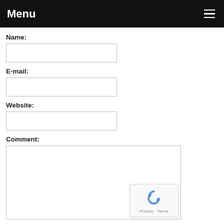Menu
Name:
E-mail:
Website:
Comment:
[Figure (other): reCAPTCHA badge with recycling arrow icon and Privacy - Terms text]